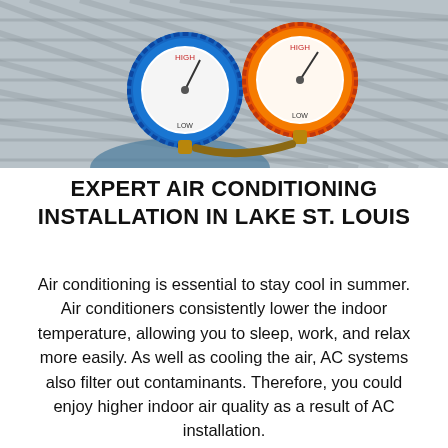[Figure (photo): Photo of HVAC pressure gauges — a blue gauge and an orange/red gauge — being held in front of an air conditioning unit's fan grill by a technician.]
EXPERT AIR CONDITIONING INSTALLATION IN LAKE ST. LOUIS
Air conditioning is essential to stay cool in summer. Air conditioners consistently lower the indoor temperature, allowing you to sleep, work, and relax more easily. As well as cooling the air, AC systems also filter out contaminants. Therefore, you could enjoy higher indoor air quality as a result of AC installation.
If you are currently relying on a very old AC system, air conditioning replacement could bring many benefits. New air conditioners are more efficient and